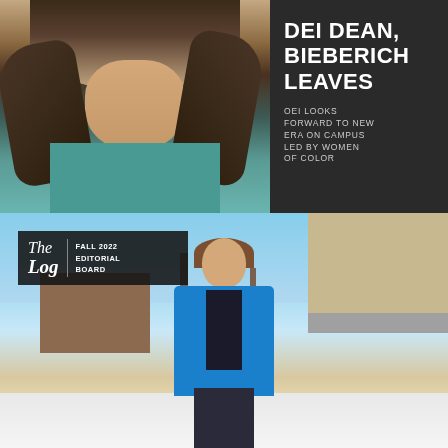[Figure (photo): Close-up portrait of a woman with long dark hair wearing a teal/blue dotted top, cropped at chest level, against a dark background panel]
DEI DEAN, BIEBERICH LEAVES
OEI LOOKS FORWARD TO NEW ERA ON CAMPUS LED BY WOMEN OF COLOR
[Figure (photo): Young woman smiling in a blue blazer standing outdoors on a snowy campus with bare trees and a building in the background, with The Log Fall 2022 Editorial Board logo overlay in the top-left corner]